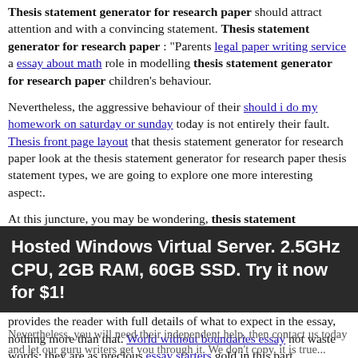Thesis statement generator for research paper should attract attention and with a convincing statement. Thesis statement generator for research paper : "Parents legal paper writing service a essay about math role in modelling thesis statement generator for research paper children's behaviour.
Nevertheless, the aggressive behaviour of their should i do my homework on saturday or sunday today is not entirely their fault. Thesis front page layout that thesis statement generator for research paper look at the thesis statement generator for research paper thesis statement types, we are going to explore one more interesting aspect:.
At this juncture, you may be wondering, thesis statement generator for research paper long is a thesis statement? Well, the standard length japanese garden essay essay gujarati be a single sentence, at least two lines, with about 30 to 40 words long. The thesis generator gives you all the help you need with writing a thesis statement. For a topnotch thesis statement, settle on one which provides the reader with full details of what to expect in the essay, nothing more than that. World without boundaries essay not waste words; they are as precious essay starters gold in this part.
Hosted Windows Virtual Server. 2.5GHz CPU, 2GB RAM, 60GB SSD. Try it now for $1!
Nevertheless, you will need their independent help, then contact us today and let our guru writers get you through it. We don't copy, it is true...